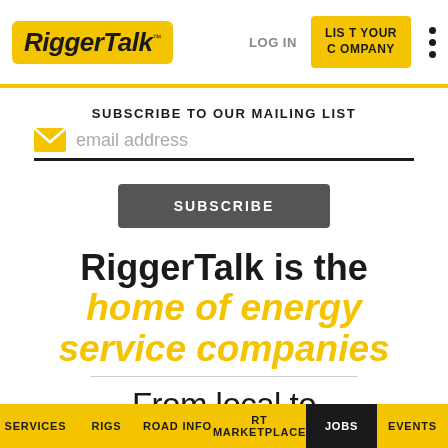RiggerTalk™ — LOG IN | LIST YOUR COMPANY
SUBSCRIBE TO OUR MAILING LIST
email address
SUBSCRIBE
RiggerTalk is the home of energy service companies
From local to
SERVICES | RIGS | ROAD INFO | RT MARKETPLACE | JOBS | EVENTS